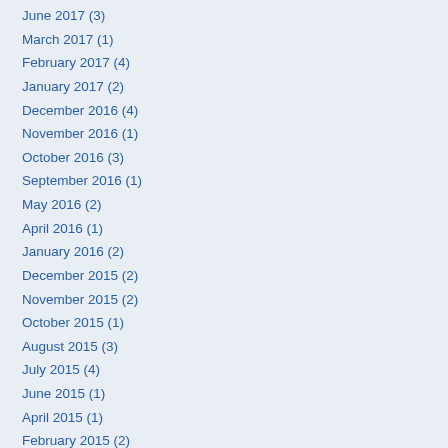June 2017 (3)
March 2017 (1)
February 2017 (4)
January 2017 (2)
December 2016 (4)
November 2016 (1)
October 2016 (3)
September 2016 (1)
May 2016 (2)
April 2016 (1)
January 2016 (2)
December 2015 (2)
November 2015 (2)
October 2015 (1)
August 2015 (3)
July 2015 (4)
June 2015 (1)
April 2015 (1)
February 2015 (2)